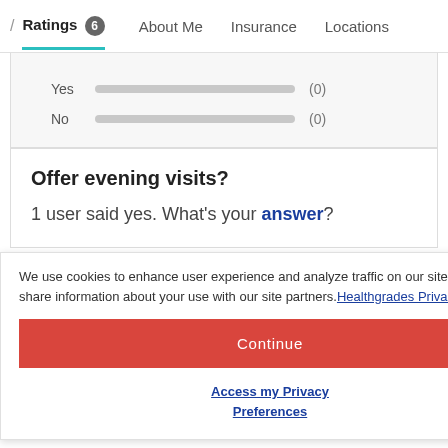/ Ratings 6  About Me  Insurance  Locations
[Figure (infographic): Yes and No rating bars both showing (0) counts with gray progress bars]
Offer evening visits?
1 user said yes. What's your answer?
We use cookies to enhance user experience and analyze traffic on our site. We also share information about your use with our site partners. Healthgrades Privacy Policy
Continue
Access my Privacy Preferences